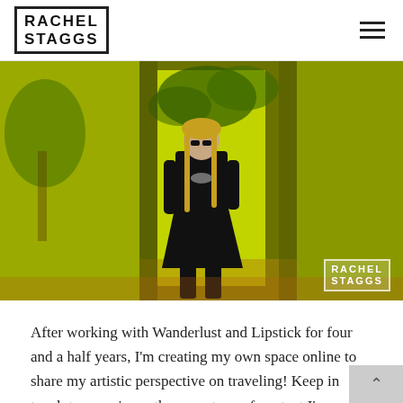RACHEL STAGGS
[Figure (photo): Woman in black dress and boots standing in a yellow-toned archway/corridor outdoors. She has long hair and sunglasses. The background shows greenery. A watermark reading 'RACHEL STAGGS' appears in the lower right corner of the photo.]
After working with Wanderlust and Lipstick for four and a half years, I'm creating my own space online to share my artistic perspective on traveling! Keep in touch to experience the same type of content I've shared here, with